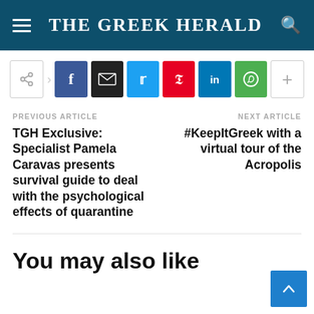THE GREEK HERALD
[Figure (screenshot): Social share bar with icons: share, Facebook, email, Twitter, Pinterest, LinkedIn, WhatsApp, more]
PREVIOUS ARTICLE
TGH Exclusive: Specialist Pamela Caravas presents survival guide to deal with the psychological effects of quarantine
NEXT ARTICLE
#KeepItGreek with a virtual tour of the Acropolis
You may also like